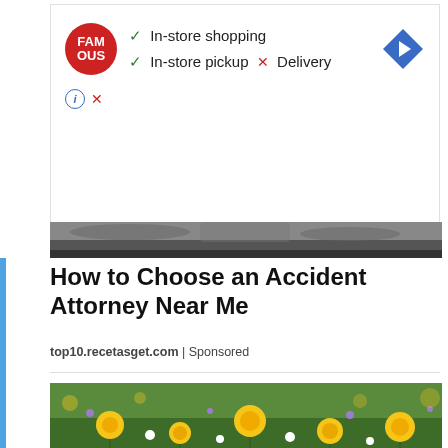[Figure (advertisement): Famous Footwear advertisement showing in-store shopping availability with checkmarks and X for delivery, with blue direction arrow diamond icon]
[Figure (photo): Car interior strip, dark dashboard]
How to Choose an Accident Attorney Near Me
top10.recetasget.com | Sponsored
[Figure (photo): A field of yellow dandelions and wildflowers with green grass, close-up ground-level view]